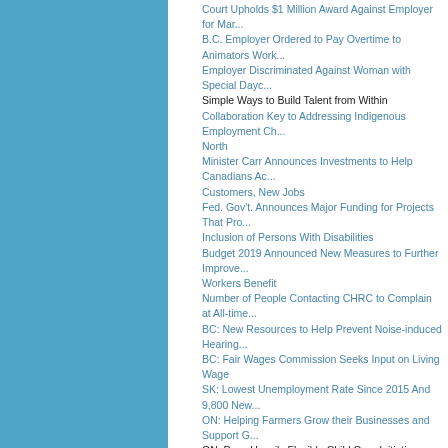Court Upholds $1 Million Award Against Employer for Mal...
B.C. Employer Ordered to Pay Overtime to Animators Work...
Employer Discriminated Against Woman with Special Dayc...
Simple Ways to Build Talent from Within
Collaboration Key to Addressing Indigenous Employment Ch... North
Minister Carr Announces Investments to Help Canadians Ac... Customers, New Jobs
Fed. Gov't. Announces Major Funding for Projects That Pro... Inclusion of Persons With Disabilities
Budget 2019 Announced New Measures to Further Improve... Workers Benefit
Number of People Contacting CHRC to Complain at All-time...
BC: New Resources to Help Prevent Noise-induced Hearing...
BC: Fair Wages Commission Seeks Input on Living Wage
SK: Lowest Unemployment Rate Since 2015 And 9,800 New...
ON: Helping Farmers Grow their Businesses and Support G...
ON: Prov. Unveils Flexible Child Care Initiatives
Wage: Minimum Wage Increased
NB: Details Released on $16-million Wage Increase for Ho...
NS: Tax Changes Promote Investment in Innovation-driven...
Government Releases Workplace Harassment and Violence... Consultation Report
8 Ways Leaders Build Collaboration
Why Most Training Fails
2019 April
Finding the Work Life Blend
Putting Workforce Planning into Practice
Putting Your Own Brand to Work
Court Upholds Termination of Man Who Installed Spyware o...
Employer Ordered to Pay Woman $63,000 for Sexual Haras...
Court Upholds More Stringent Family Discrimination Test in...
Restrictive Covenants: What Are They and What Do They D...
Collaboration Key to Addressing Indigenous Employment Ch... North
Extra Weeks Of Employment Insurance Parental Benefits N...
Fed. Gov't Program to Provide $3.5 million Annually to Prev... Harassment And Violence
Fed. Gov't Creates 70,000+ Quality Jobs Through Canada S...
Survey: 1 in 3 Job Candidates in Canada Removed from Co... Reference Checks
BC: Construction Industry Introduces Worksite Conduct Str... Worker Retention
BC: Immigration Pilot Program Helps Drive Economic Grow...